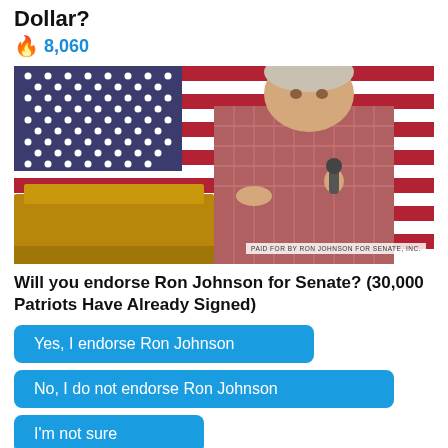Dollar?
🔥 8,060
[Figure (photo): Man in red/pink plaid shirt speaking at a wooden podium with a microphone in front of a large American flag. Watermark reads: PAID FOR BY RON JOHNSON FOR SENATE, INC.]
Will you endorse Ron Johnson for Senate? (30,000 Patriots Have Already Signed)
Yes, I endorse Ron Johnson
No, I do not endorse Ron Johnson
I'm not sure